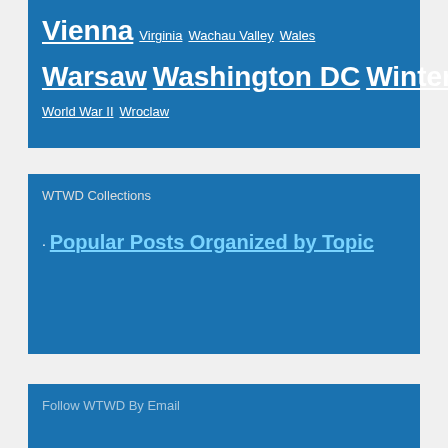Vienna  Virginia  Wachau Valley  Wales
Warsaw  Washington DC  Winter Blues
World War II  Wroclaw
WTWD Collections
· Popular Posts Organized by Topic
Follow WTWD By Email